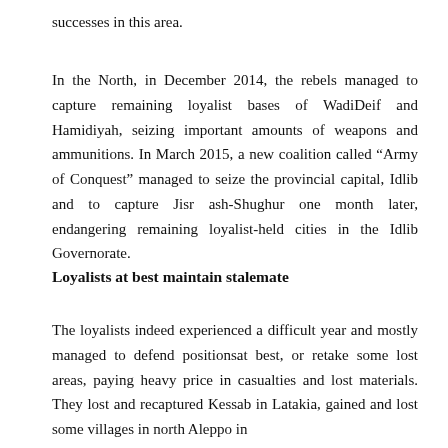successes in this area.
In the North, in December 2014, the rebels managed to capture remaining loyalist bases of WadiDeif and Hamidiyah, seizing important amounts of weapons and ammunitions. In March 2015, a new coalition called “Army of Conquest” managed to seize the provincial capital, Idlib and to capture Jisr ash-Shughur one month later, endangering remaining loyalist-held cities in the Idlib Governorate.
Loyalists at best maintain stalemate
The loyalists indeed experienced a difficult year and mostly managed to defend positionsat best, or retake some lost areas, paying heavy price in casualties and lost materials. They lost and recaptured Kessab in Latakia, gained and lost some villages in north Aleppo in